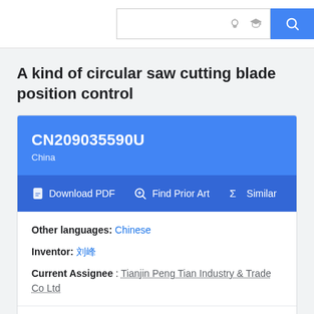Search bar with icons
A kind of circular saw cutting blade position control
CN209035590U
China
Download PDF  Find Prior Art  Similar
Other languages: Chinese
Inventor: 刘峰
Current Assignee : Tianjin Peng Tian Industry & Trade Co Ltd
Worldwide applications
2018 · CN